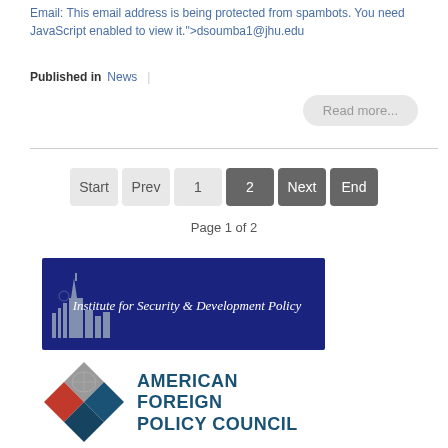Email: This email address is being protected from spambots. You need JavaScript enabled to view it.">dsoumba1@jhu.edu
Published in  News  |
Read more...
Start  Prev  1  2  Next  End
Page 1 of 2
[Figure (logo): Institute for Security & Development Policy banner with dark blue background and white text and building silhouette]
[Figure (logo): American Foreign Policy Council logo with diamond shapes in red and teal colors and bold dark blue text]